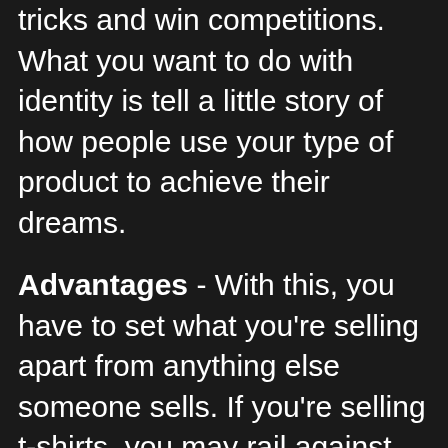tricks and win competitions. What you want to do with identity is tell a little story of how people use your type of product to achieve their dreams.
Advantages - With this, you have to set what you're selling apart from anything else someone sells. If you're selling t-shirts, you may rail against mass-market goods that are homogenous and don't let people show their quirkiness and individuality. Whatever the case, you have to lead the reader to separate your product from the rest